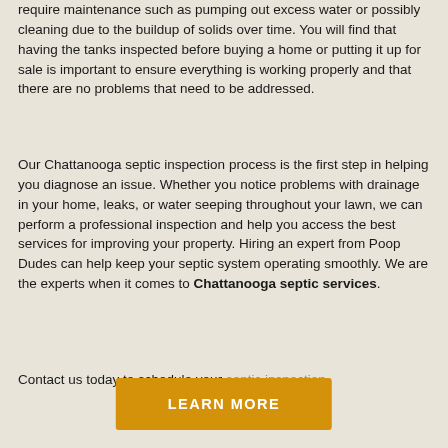require maintenance such as pumping out excess water or possibly cleaning due to the buildup of solids over time. You will find that having the tanks inspected before buying a home or putting it up for sale is important to ensure everything is working properly and that there are no problems that need to be addressed.
Our Chattanooga septic inspection process is the first step in helping you diagnose an issue. Whether you notice problems with drainage in your home, leaks, or water seeping throughout your lawn, we can perform a professional inspection and help you access the best services for improving your property. Hiring an expert from Poop Dudes can help keep your septic system operating smoothly. We are the experts when it comes to Chattanooga septic services.
Contact us today to schedule your septic inspection.
LEARN MORE